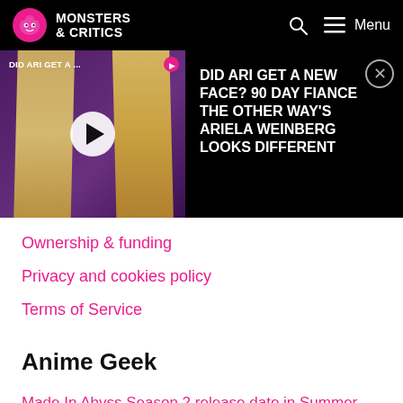Monsters & Critics
[Figure (screenshot): Video thumbnail showing two blonde women with play button overlay, titled 'DID ARI GET A ...']
DID ARI GET A NEW FACE? 90 DAY FIANCE THE OTHER WAY'S ARIELA WEINBERG LOOKS DIFFERENT
Ownership & funding
Privacy and cookies policy
Terms of Service
Anime Geek
Made In Abyss Season 2 release date in Summer 2022 confirmed by Made In Abyss: The Golden City of the Scorching Sun trailer